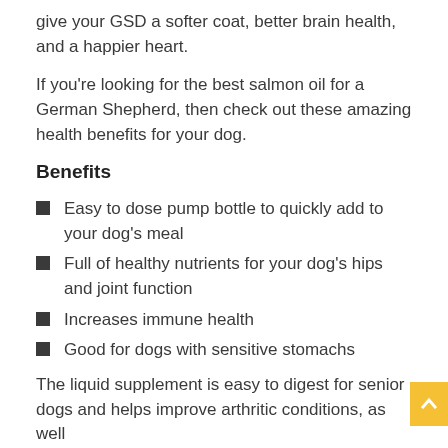give your GSD a softer coat, better brain health, and a happier heart.
If you're looking for the best salmon oil for a German Shepherd, then check out these amazing health benefits for your dog.
Benefits
Easy to dose pump bottle to quickly add to your dog's meal
Full of healthy nutrients for your dog's hips and joint function
Increases immune health
Good for dogs with sensitive stomachs
The liquid supplement is easy to digest for senior dogs and helps improve arthritic conditions, as well as decreasing itching and coat dullness.